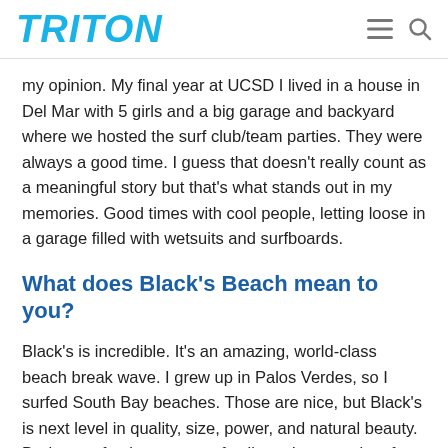TRITON
my opinion. My final year at UCSD I lived in a house in Del Mar with 5 girls and a big garage and backyard where we hosted the surf club/team parties. They were always a good time. I guess that doesn't really count as a meaningful story but that's what stands out in my memories. Good times with cool people, letting loose in a garage filled with wetsuits and surfboards.
What does Black's Beach mean to you?
Black's is incredible. It's an amazing, world-class beach break wave. I grew up in Palos Verdes, so I surfed South Bay beaches. Those are nice, but Black's is next level in quality, size, power, and natural beauty. During my freshman year of college, I spent a lot of time surfing Black's. I was in Eleanor Roosevelt College, but I lived at